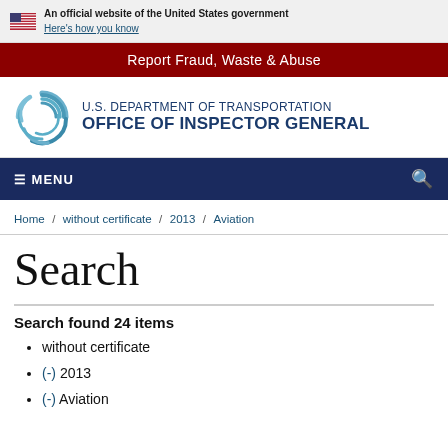An official website of the United States government Here's how you know
Report Fraud, Waste & Abuse
[Figure (logo): U.S. Department of Transportation Office of Inspector General logo with circular blue swirl emblem]
MENU
Home / without certificate / 2013 / Aviation
Search
Search found 24 items
without certificate
(-) 2013
(-) Aviation